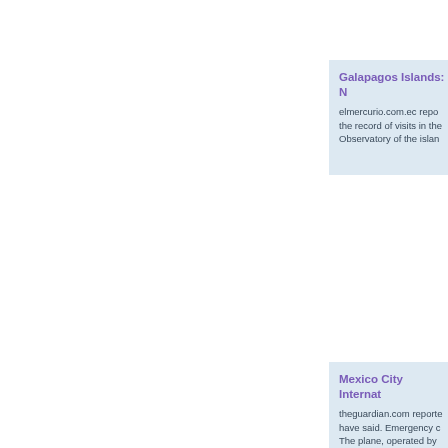Galapagos Islands: N... elmercurio.com.ec repo... the record of visits in the... Observatory of the islan...
Mexico City Internat... theguardian.com reporte... have said. Emergency c... The plane, operated by...
Cuba: Common Scan... news.com.au/Erin Van D... scammer will approach a... for it and left, the local a...
Peru pulls out as host... UPI.com reported Peru...